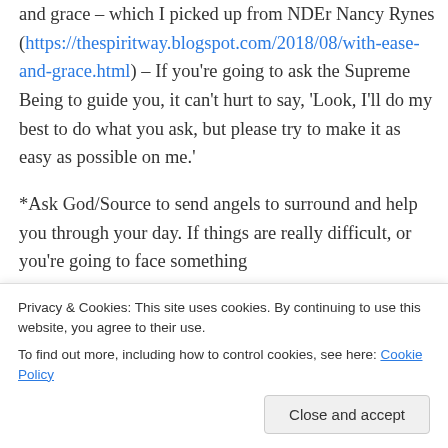and grace – which I picked up from NDEr Nancy Rynes (https://thespiritway.blogspot.com/2018/08/with-ease-and-grace.html) – If you're going to ask the Supreme Being to guide you, it can't hurt to say, 'Look, I'll do my best to do what you ask, but please try to make it as easy as possible on me.'

*Ask God/Source to send angels to surround and help you through your day. If things are really difficult, or you're going to face something
Privacy & Cookies: This site uses cookies. By continuing to use this website, you agree to their use.
To find out more, including how to control cookies, see here: Cookie Policy
that whenever I ask for guidance in getting